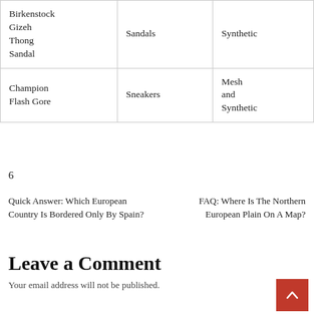| Product | Type | Material |
| --- | --- | --- |
| Birkenstock Gizeh Thong Sandal | Sandals | Synthetic |
| Champion Flash Gore | Sneakers | Mesh and Synthetic |
6
Quick Answer: Which European Country Is Bordered Only By Spain?
FAQ: Where Is The Northern European Plain On A Map?
Leave a Comment
Your email address will not be published.